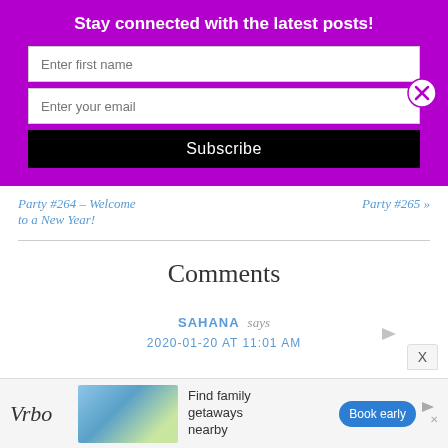Stay connected with the latest posts!
Enter first name
Enter your email
Subscribe
Party #264 – Welcome to a New Year!
Party #265 »
Comments
SAHANA says
2020-01-20 AT 11:01 AM
[Figure (infographic): Advertisement banner for Vrbo showing logo, beach house image, text 'Find family getaways nearby' and 'Book early' button]